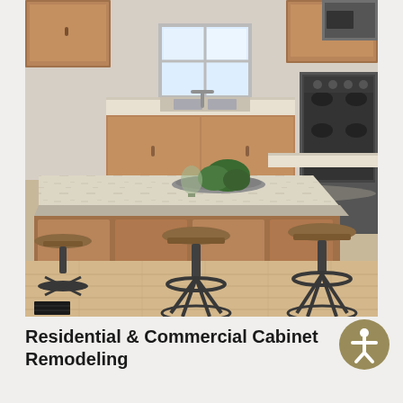[Figure (photo): Kitchen interior with a large granite-topped island, three industrial-style adjustable bar stools with round wooden seats and black metal bases, medium-toned wood cabinets, a stainless steel stove/range to the right, a window above the sink in the background, and light hardwood flooring.]
Residential & Commercial Cabinet Remodeling